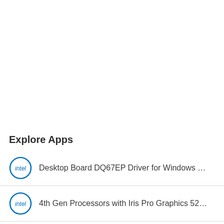Explore Apps
Desktop Board DQ67EP Driver for Windows …
4th Gen Processors with Iris Pro Graphics 52…
2nd Gen Processors with HD Graphics 3000?…